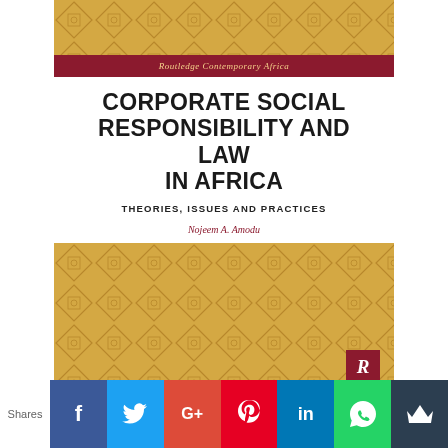[Figure (illustration): Book cover of 'Corporate Social Responsibility and Law in Africa: Theories, Issues and Practices' by Nojeem A. Amodu. Cover has golden/amber diamond pattern on top and bottom sections, a dark red/maroon series bar reading 'Routledge Contemporary Africa', white middle section with title and author name, and Routledge 'R' logo at bottom right.]
[Figure (screenshot): Social media share buttons bar showing: Shares label, Facebook (blue), Twitter (light blue), Google+ (red-orange), Pinterest (red), LinkedIn (dark blue), WhatsApp (green), and one more dark button.]